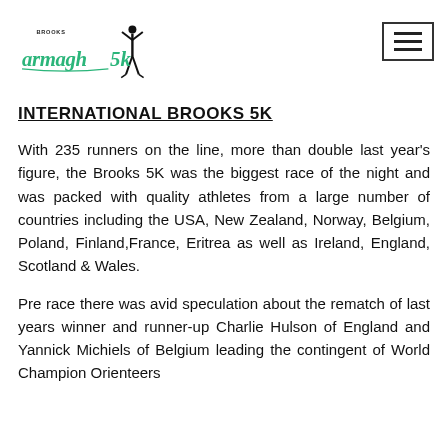[Figure (logo): Armagh 5K race logo with Brooks branding, showing a runner silhouette and green cursive text reading 'armagh 5k']
INTERNATIONAL BROOKS 5K
With 235 runners on the line, more than double last year's figure, the Brooks 5K was the biggest race of the night and was packed with quality athletes from a large number of countries including the USA, New Zealand, Norway, Belgium, Poland, Finland,France, Eritrea as well as Ireland, England, Scotland & Wales.
Pre race there was avid speculation about the rematch of last years winner and runner-up Charlie Hulson of England and Yannick Michiels of Belgium leading the contingent of World Champion Orienteers